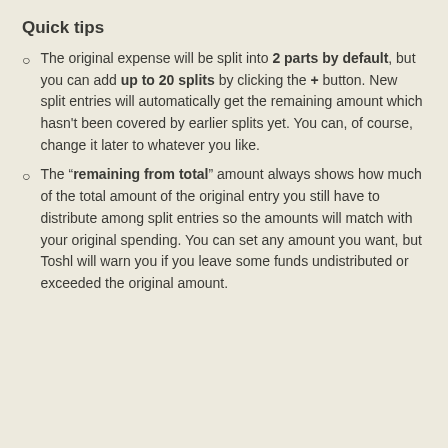Quick tips
The original expense will be split into 2 parts by default, but you can add up to 20 splits by clicking the + button. New split entries will automatically get the remaining amount which hasn't been covered by earlier splits yet. You can, of course, change it later to whatever you like.
The “remaining from total” amount always shows how much of the total amount of the original entry you still have to distribute among split entries so the amounts will match with your original spending. You can set any amount you want, but Toshl will warn you if you leave some funds undistributed or exceeded the original amount.